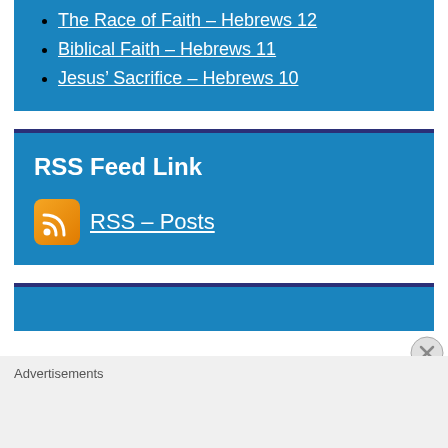The Race of Faith – Hebrews 12
Biblical Faith – Hebrews 11
Jesus' Sacrifice – Hebrews 10
RSS Feed Link
RSS – Posts
Advertisements